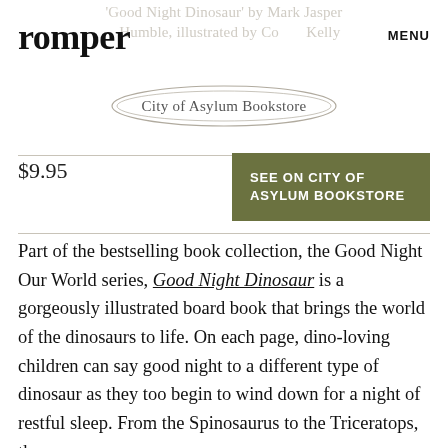'Good Night Dinosaur' by Mark Jasper Humble, illustrated by Cori Kelly
romper
MENU
[Figure (other): City of Asylum Bookstore logo in an oval border]
$9.95
SEE ON CITY OF ASYLUM BOOKSTORE
Part of the bestselling book collection, the Good Night Our World series, Good Night Dinosaur is a gorgeously illustrated board book that brings the world of the dinosaurs to life. On each page, dino-loving children can say good night to a different type of dinosaur as they too begin to wind down for a night of restful sleep. From the Spinosaurus to the Triceratops, the